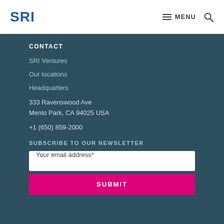SRI MENU
CONTACT
SRI Ventures
Our locations
Headquarters
333 Ravenswood Ave
Menlo Park, CA 94025 USA
+1 (650) 859-2000
SUBSCRIBE TO OUR NEWSLETTER
Your email address*
SUBMIT